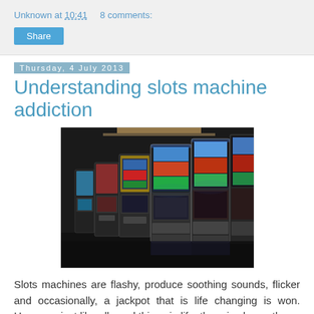Unknown at 10:41    8 comments:
Share
Thursday, 4 July 2013
Understanding slots machine addiction
[Figure (photo): Row of slot machines in a casino, dark ambiance with colorful screen displays]
Slots machines are flashy, produce soothing sounds, flicker and occasionally, a jackpot that is life changing is won. However, just like all good things in life, there is always the